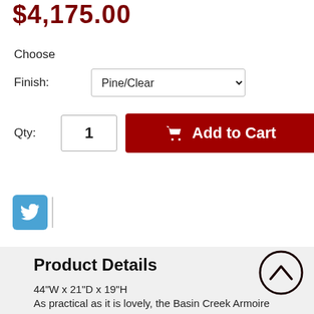$4,175.00
Choose
Finish: Pine/Clear
Qty: 1  Add to Cart
[Figure (logo): Twitter blue bird logo button]
Product Details
44"W x 21"D x 19"H
As practical as it is lovely, the Basin Creek Armoire